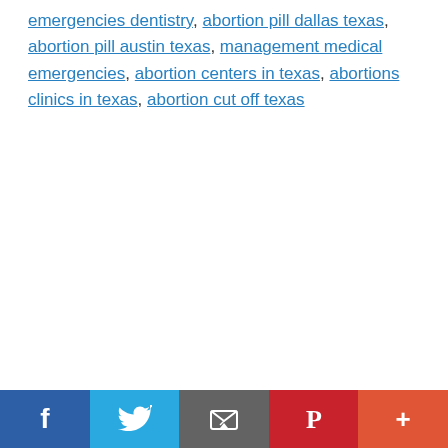emergencies dentistry, abortion pill dallas texas, abortion pill austin texas, management medical emergencies, abortion centers in texas, abortions clinics in texas, abortion cut off texas
[Figure (other): Social sharing bar with Facebook, Twitter, Email, Pinterest, and More (+) buttons]